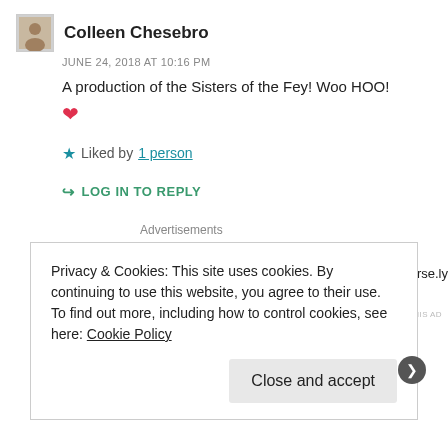Colleen Chesebro
JUNE 24, 2018 AT 10:16 PM
A production of the Sisters of the Fey! Woo HOO! ❤
★ Liked by 1 person
↪ LOG IN TO REPLY
Advertisements
[Figure (infographic): Parse.ly advertisement: Content Analytics Made Easy, with a green 'Get A Demo →' button and Parse.ly logo]
REPORT THIS AD
Privacy & Cookies: This site uses cookies. By continuing to use this website, you agree to their use.
To find out more, including how to control cookies, see here: Cookie Policy
Close and accept